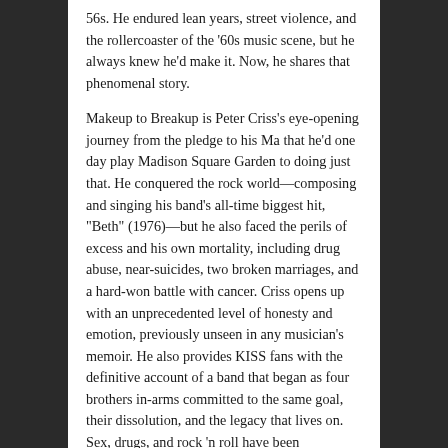56s. He endured lean years, street violence, and the rollercoaster of the '60s music scene, but he always knew he'd make it. Now, he shares that phenomenal story.
Makeup to Breakup is Peter Criss's eye-opening journey from the pledge to his Ma that he'd one day play Madison Square Garden to doing just that. He conquered the rock world—composing and singing his band's all-time biggest hit, "Beth" (1976)—but he also faced the perils of excess and his own mortality, including drug abuse, near-suicides, two broken marriages, and a hard-won battle with cancer. Criss opens up with an unprecedented level of honesty and emotion, previously unseen in any musician's memoir. He also provides KISS fans with the definitive account of a band that began as four brothers in-arms committed to the same goal, their dissolution, and the legacy that lives on. Sex, drugs, and rock 'n roll have been chronicled many times—but never